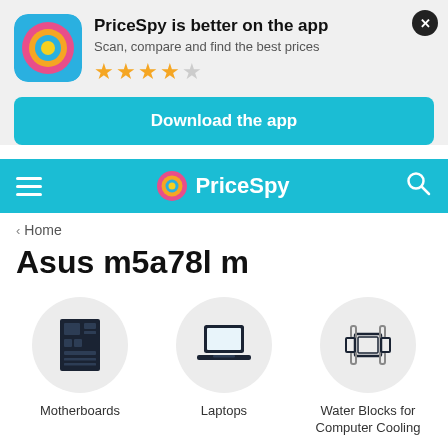[Figure (infographic): App promotional banner with PriceSpy app icon (blue rounded square with colorful target/logo), close button (X), title, subtitle, star rating, and download button]
PriceSpy is better on the app
Scan, compare and find the best prices
★★★★☆ (4 out of 5 stars)
Download the app
[Figure (logo): PriceSpy navigation bar with hamburger menu, PriceSpy logo (colored target icon + PriceSpy text in white), and search icon]
< Home
Asus m5a78l m
[Figure (infographic): Three category circles: Motherboards (motherboard icon), Laptops (laptop icon), Water Blocks for Computer Cooling (CPU water block icon)]
Motherboards
Laptops
Water Blocks for Computer Cooling